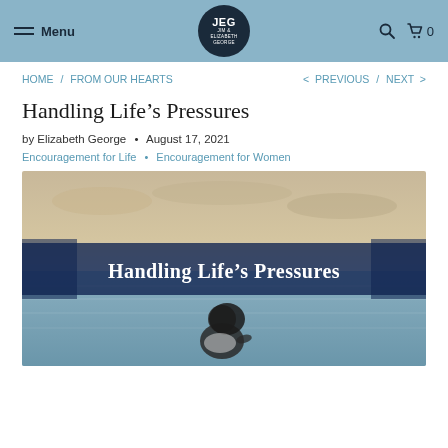Menu | JEG Jim & Elizabeth George | Search | Cart 0
HOME / FROM OUR HEARTS  < PREVIOUS / NEXT >
Handling Life’s Pressures
by Elizabeth George • August 17, 2021
Encouragement for Life • Encouragement for Women
[Figure (photo): Photo of a woman sitting by the sea at sunset with a navy banner overlay reading 'Handling Life’s Pressures']